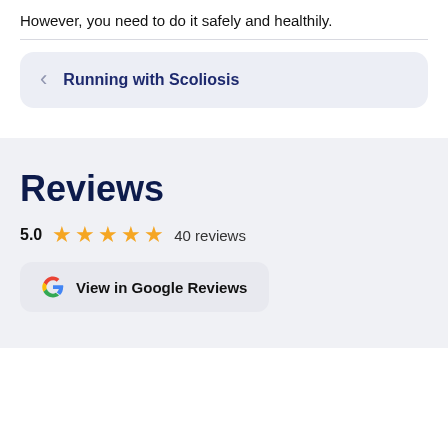However, you need to do it safely and healthily.
Running with Scoliosis
Reviews
5.0   ★★★★★   40 reviews
View in Google Reviews